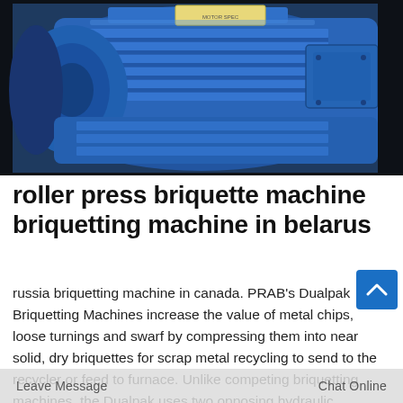[Figure (photo): Close-up photo of a large blue industrial electric motor with ribbed housing and a label plate on top, set against a dark background.]
roller press briquette machine briquetting machine in belarus
russia briquetting machine in canada. PRAB's Dualpak Briquetting Machines increase the value of metal chips, loose turnings and swarf by compressing them into near solid, dry briquettes for scrap metal recycling to send to the recycler or feed to furnace. Unlike competing briquetting machines, the Dualpak uses two opposing hydraulic cylinders.
Leave Message   Chat Online